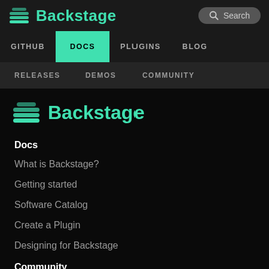Backstage — Search
GITHUB | DOCS | PLUGINS | BLOG
RELEASES | DEMOS | COMMUNITY
Backstage
Docs
What is Backstage?
Getting started
Software Catalog
Create a Plugin
Designing for Backstage
Community